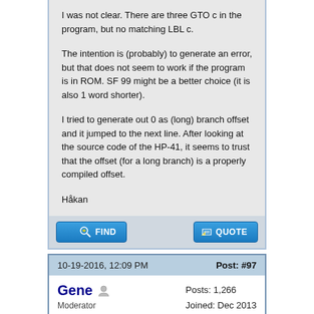I was not clear. There are three GTO c in the program, but no matching LBL c.

The intention is (probably) to generate an error, but that does not seem to work if the program is in ROM. SF 99 might be a better choice (it is also 1 word shorter).

I tried to generate out 0 as (long) branch offset and it jumped to the next line. After looking at the source code of the HP-41, it seems to trust that the offset (for a long branch) is a properly compiled offset.

Håkan
10-19-2016, 12:09 PM
Post: #97
Gene
Moderator
Posts: 1,266
Joined: Dec 2013
RE: Raw files for these HP 67 program listings ?
The program's original intent was to generate an error with those GTO c instructions.